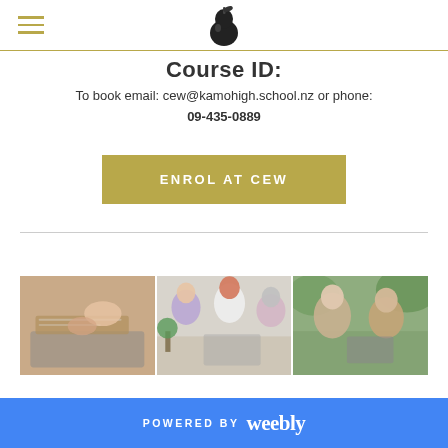Navigation header with hamburger menu and pear logo
Course ID:
To book email: cew@kamohigh.school.nz or phone: 09-435-0889
ENROL AT CEW
[Figure (photo): Three side-by-side photos of adults: person at laptop with notebook, group of women in conversation at table, two older adults with laptop outdoors]
POWERED BY weebly